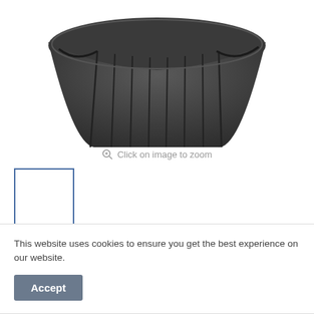[Figure (photo): Product photo showing bottom portion of a dark grey pleated skirt against white background]
Click on image to zoom
[Figure (photo): Small thumbnail image with blue border, blank white content]
DL Junior Drop Waist Knife Pleat Skirt
This website uses cookies to ensure you get the best experience on our website.
Accept